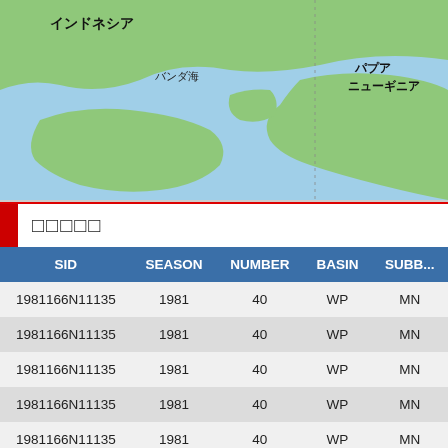[Figure (map): Map showing Indonesia and Papua New Guinea region with blue ocean (Banda Sea / バンダ海) and green landmasses. Japanese labels: インドネシア (Indonesia), バンダ海 (Banda Sea), パプアニューギニア (Papua New Guinea).]
□□□□□
| SID | SEASON | NUMBER | BASIN | SUBB... |
| --- | --- | --- | --- | --- |
| 1981166N11135 | 1981 | 40 | WP | MN |
| 1981166N11135 | 1981 | 40 | WP | MN |
| 1981166N11135 | 1981 | 40 | WP | MN |
| 1981166N11135 | 1981 | 40 | WP | MN |
| 1981166N11135 | 1981 | 40 | WP | MN |
| 1981166N11135 | 1981 | 40 | WP | MN |